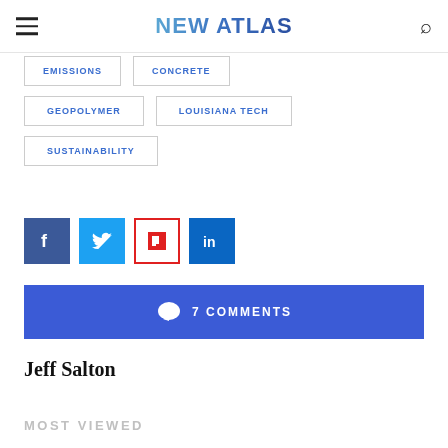NEW ATLAS
EMISSIONS
CONCRETE
GEOPOLYMER
LOUISIANA TECH
SUSTAINABILITY
[Figure (infographic): Social sharing icons: Facebook (blue), Twitter (light blue), Flipboard (red/white), LinkedIn (blue)]
7 COMMENTS
Jeff Salton
MOST VIEWED